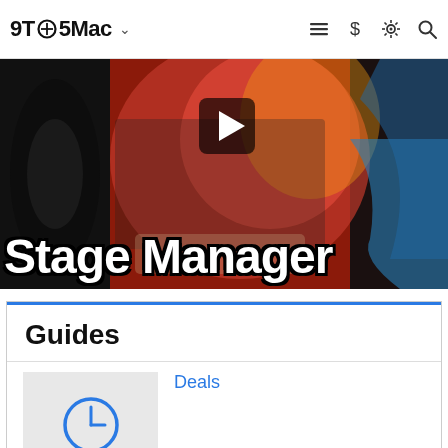9TO5Mac
[Figure (screenshot): Video thumbnail showing a MacBook with macOS Ventura wallpaper and studio monitors, with a YouTube play button overlay and 'Stage Manager' text displayed prominently]
Guides
Deals